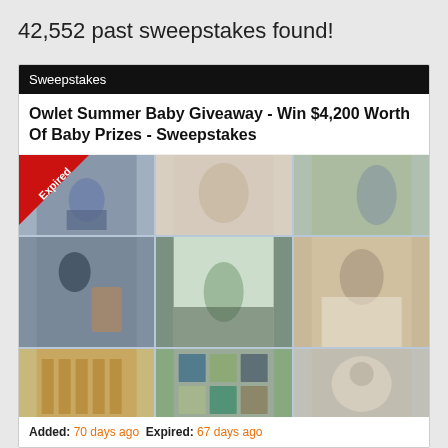42,552 past sweepstakes found!
Sweepstakes
Owlet Summer Baby Giveaway - Win $4,200 Worth Of Baby Prizes - Sweepstakes
[Figure (photo): Photo collage of 9 baby/parenting lifestyle photos in a 3x3 grid with an 'Expired' badge on the top-left corner]
Added: 70 days ago  Expired: 67 days ago